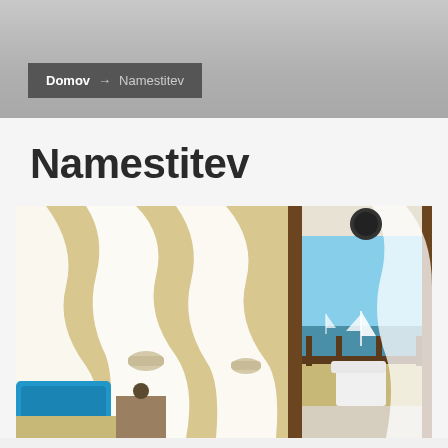Domov → Namestitev
Namestitev
[Figure (photo): Interior photo of a tropical beach resort room with flowing white sheer curtains tied back, a blue pillow on a chair visible in the lower left, and an ocean/beach view visible through an open door/balcony in the background with sailboat on the water.]